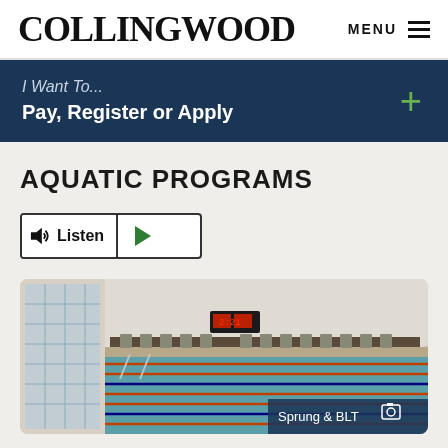COLLINGWOOD
MENU
I Want To... Pay, Register or Apply
AQUATIC PROGRAMS
Listen
[Figure (photo): Indoor swimming pool facility with lane dividers and scoreboard, labeled Sprung & BLT]